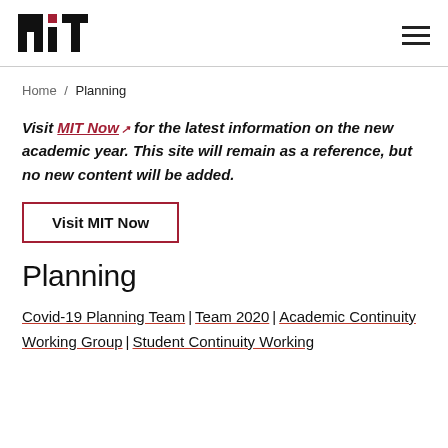MIT logo | Navigation menu
Home / Planning
Visit MIT Now for the latest information on the new academic year. This site will remain as a reference, but no new content will be added.
Visit MIT Now
Planning
Covid-19 Planning Team | Team 2020 | Academic Continuity Working Group | Student Continuity Working